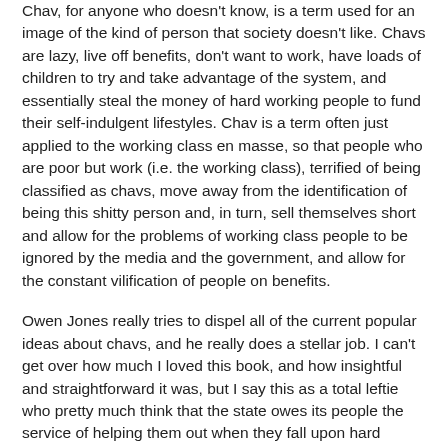Chav, for anyone who doesn't know, is a term used for an image of the kind of person that society doesn't like. Chavs are lazy, live off benefits, don't want to work, have loads of children to try and take advantage of the system, and essentially steal the money of hard working people to fund their self-indulgent lifestyles. Chav is a term often just applied to the working class en masse, so that people who are poor but work (i.e. the working class), terrified of being classified as chavs, move away from the identification of being this shitty person and, in turn, sell themselves short and allow for the problems of working class people to be ignored by the media and the government, and allow for the constant vilification of people on benefits.
Owen Jones really tries to dispel all of the current popular ideas about chavs, and he really does a stellar job. I can't get over how much I loved this book, and how insightful and straightforward it was, but I say this as a total leftie who pretty much think that the state owes its people the service of helping them out when they fall upon hard times. I'm sure someone with more right wing views reading this book would just roll their eyes and say 'well sure, but what about the chavs? They deserve to be evil, because that's terrible?